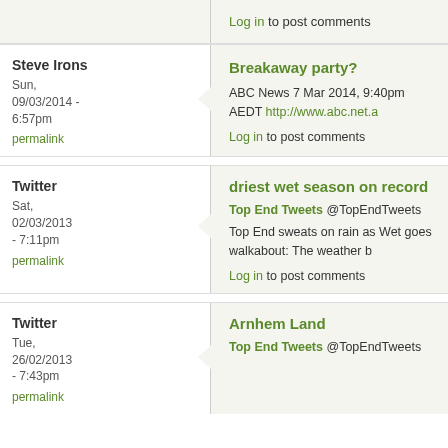Log in to post comments
Steve Irons
Sun, 09/03/2014 - 6:57pm
permalink
Breakaway party?
ABC News 7 Mar 2014, 9:40pm AEDT http://www.abc.net.a
Log in to post comments
Twitter
Sat, 02/03/2013 - 7:11pm
permalink
driest wet season on record
Top End Tweets @TopEndTweets
Top End sweats on rain as Wet goes walkabout: The weather b
Log in to post comments
Twitter
Tue, 26/02/2013 - 7:43pm
permalink
Arnhem Land
Top End Tweets @TopEndTweets